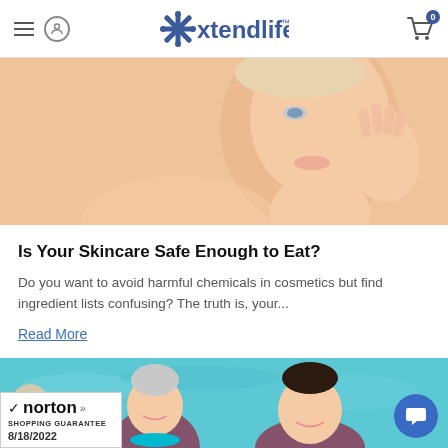Xtendlife — navigation header with hamburger menu, user icon, logo, and cart
[Figure (photo): Woman touching her face/cheek against a peach/beige background — skincare product article hero image]
Is Your Skincare Safe Enough to Eat?
Do you want to avoid harmful chemicals in cosmetics but find ingredient lists confusing? The truth is, your...
Read More
[Figure (photo): Two women smiling in a pool doing aqua aerobics — second article hero image]
[Figure (logo): Norton Shopping Guarantee badge with date 8/18/2022]